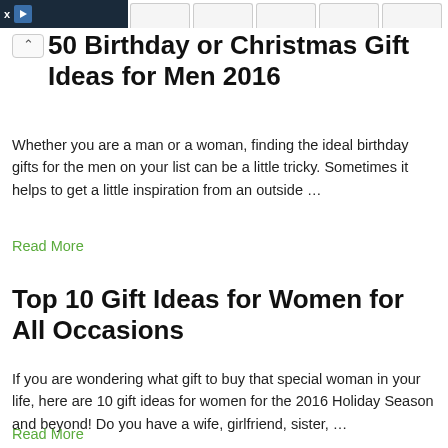[Figure (screenshot): Top browser navigation bar with dark ad box containing X and play button, plus navigation tabs on the right]
50 Birthday or Christmas Gift Ideas for Men 2016
Whether you are a man or a woman, finding the ideal birthday gifts for the men on your list can be a little tricky. Sometimes it helps to get a little inspiration from an outside …
Read More
Top 10 Gift Ideas for Women for All Occasions
If you are wondering what gift to buy that special woman in your life, here are 10 gift ideas for women for the 2016 Holiday Season and beyond! Do you have a wife, girlfriend, sister, …
Read More